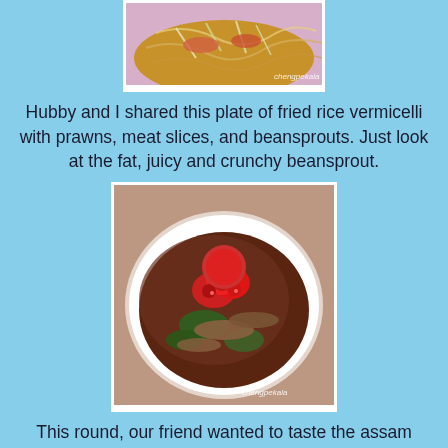[Figure (photo): Partial top view of a plate of fried rice vermicelli with prawns, meat slices, and beansprouts on a pink plate. Watermark: chengpekala]
Hubby and I shared this plate of fried rice vermicelli with prawns, meat slices, and beansprouts. Just look at the fat, juicy and crunchy beansprout.
[Figure (photo): A white bowl of assam laksa with dark broth, generous pieces of fish, red chilli slices on top, herbs and vegetables. Watermark: chengpekala]
This round, our friend wanted to taste the assam laksa which we had on our first visit. Just look at the generous pieces of fish.
[Figure (photo): Partial view of another food dish, cropped at bottom of page.]